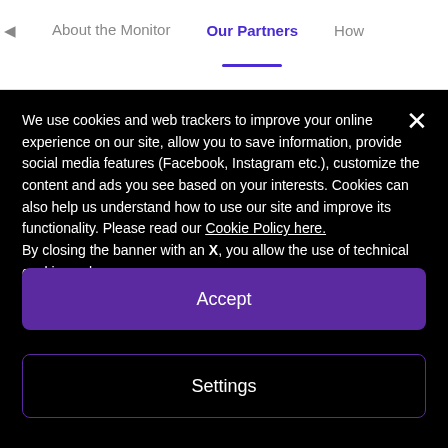About the Monitor | Our Partners | How
We use cookies and web trackers to improve your online experience on our site, allow you to save information, provide social media features (Facebook, Instagram etc.), customize the content and ads you see based on your interests. Cookies can also help us understand how to use our site and improve its functionality. Please read our Cookie Policy here.
By closing the banner with an X, you allow the use of technical cookies only.
Accept
Settings